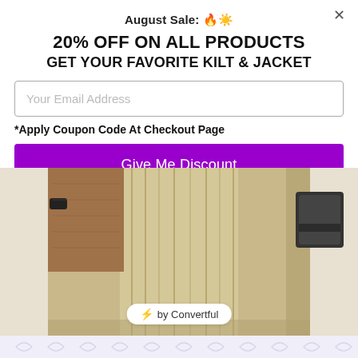August Sale: 🔥☀️
20% OFF ON ALL PRODUCTS
GET YOUR FAVORITE KILT & JACKET
Your Email Address
*Apply Coupon Code At Checkout Page
Give Me Discount
[Figure (photo): Product photo of a khaki/tan utility kilt with brown suede panels and black velcro pockets, displayed against a light background]
⚡ by Convertful